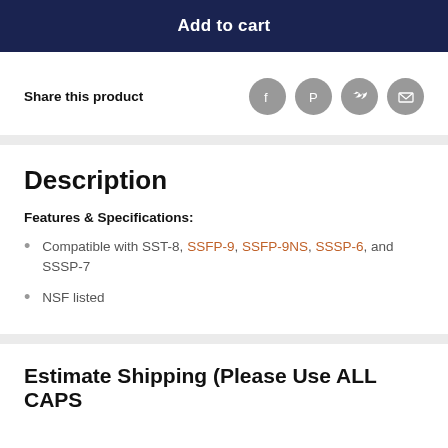Add to cart
Share this product
Description
Features & Specifications:
Compatible with SST-8, SSFP-9, SSFP-9NS, SSSP-6, and SSSP-7
NSF listed
Estimate Shipping (Please Use ALL CAPS